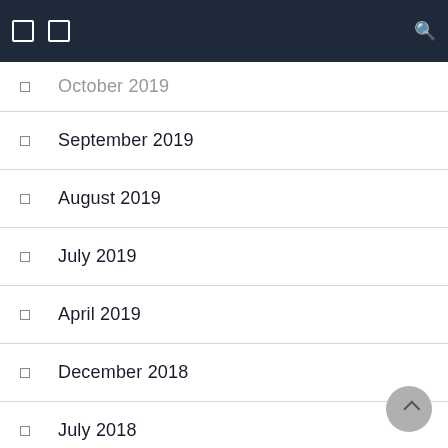Navigation bar with icons
October 2019
September 2019
August 2019
July 2019
April 2019
December 2018
July 2018
May 2017
April 2017
February 2017